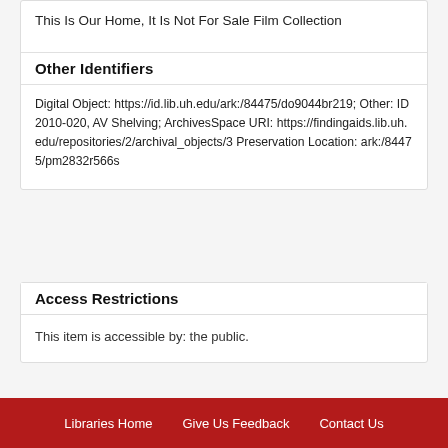This Is Our Home, It Is Not For Sale Film Collection
Other Identifiers
Digital Object: https://id.lib.uh.edu/ark:/84475/do9044br219; Other: ID 2010-020, AV Shelving; ArchivesSpace URI: https://findingaids.lib.uh.edu/repositories/2/archival_objects/3 Preservation Location: ark:/84475/pm2832r566s
Access Restrictions
This item is accessible by: the public.
Libraries Home   Give Us Feedback   Contact Us